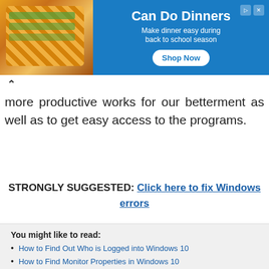[Figure (other): Advertisement banner for 'Can Do Dinners' with food image on left, blue background, text 'Can Do Dinners – Make dinner easy during back to school season' and a 'Shop Now' button]
more productive works for our betterment as well as to get easy access to the programs.
STRONGLY SUGGESTED: Click here to fix Windows errors
You might like to read:
How to Find Out Who is Logged into Windows 10
How to Find Monitor Properties in Windows 10
How to Check Which Process Is Using More CPU in